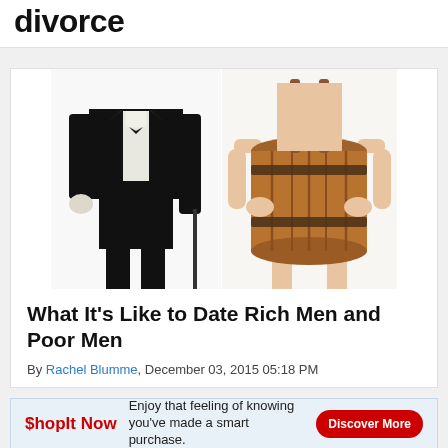divorce
[Figure (photo): Two cropped figures: left figure wearing a black tuxedo/suit, right figure wearing a wooden barrel as clothing]
What It's Like to Date Rich Men and Poor Men
By Rachel Blumme, December 03, 2015 05:18 PM
[Figure (infographic): ShopIt Now advertisement banner: 'Enjoy that feeling of knowing you've made a smart purchase.' with a red Discover More button]